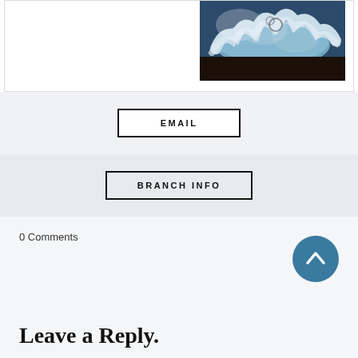[Figure (photo): Partial view of a blue and white decorated cake on a dark surface, shown in the upper right of a white card area]
EMAIL
BRANCH INFO
0 Comments
[Figure (other): Teal/dark blue circular scroll-to-top button with an upward chevron arrow]
Leave a Reply.